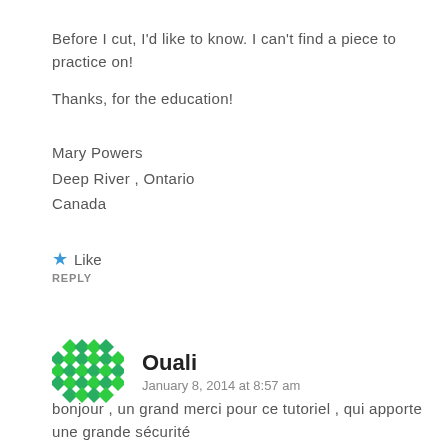Before I cut, I'd like to know. I can't find a piece to practice on!
Thanks, for the education!
Mary Powers
Deep River , Ontario
Canada
Like
REPLY
Ouali
January 8, 2014 at 8:57 am
bonjour , un grand merci pour ce tutoriel , qui apporte une grande sécurité